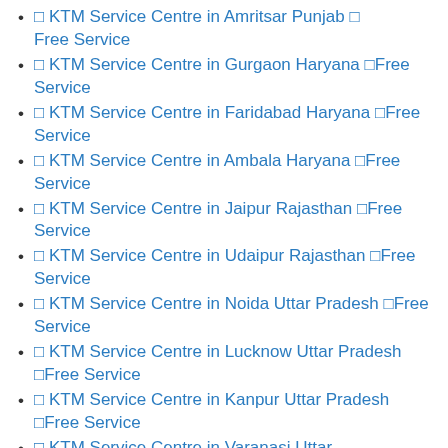🔲 KTM Service Centre in Amritsar Punjab 🔲 Free Service
🔲 KTM Service Centre in Gurgaon Haryana 🔲Free Service
🔲 KTM Service Centre in Faridabad Haryana 🔲Free Service
🔲 KTM Service Centre in Ambala Haryana 🔲Free Service
🔲 KTM Service Centre in Jaipur Rajasthan 🔲Free Service
🔲 KTM Service Centre in Udaipur Rajasthan 🔲Free Service
🔲 KTM Service Centre in Noida Uttar Pradesh 🔲Free Service
🔲 KTM Service Centre in Lucknow Uttar Pradesh 🔲Free Service
🔲 KTM Service Centre in Kanpur Uttar Pradesh 🔲Free Service
🔲 KTM Service Centre in Varanasi Uttar